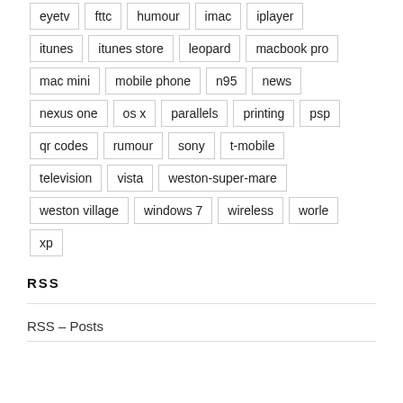eyetv
fttc
humour
imac
iplayer
itunes
itunes store
leopard
macbook pro
mac mini
mobile phone
n95
news
nexus one
os x
parallels
printing
psp
qr codes
rumour
sony
t-mobile
television
vista
weston-super-mare
weston village
windows 7
wireless
worle
xp
RSS
RSS – Posts